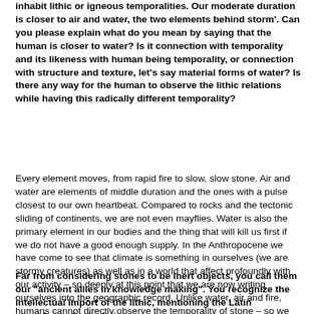inhabit lithic or igneous temporalities. Our moderate duration is closer to air and water, the two elements behind storm'. Can you please explain what do you mean by saying that the human is closer to water? Is it connection with temporality and its likeness with human being temporality, or connection with structure and texture, let's say material forms of water? Is there any way for the human to observe the lithic relations while having this radically different temporality?
Every element moves, from rapid fire to slow, slow stone. Air and water are elements of middle duration and the ones with a pulse closest to our own heartbeat. Compared to rocks and the tectonic sliding of continents, we are not even mayflies. Water is also the primary element in our bodies and the thing that will kill us first if we do not have a good enough supply. In the Anthropocene we have come to see that climate is something in ourselves (we are stormy creatures) as well as in a world that affect profoundly with our activity – so deeply at this point that we are now writing ourselves into the geographic record. Unlike water, air and fire, humans cannot directly observe the temporality of stone – so we use technology like narrative to comprehend how the lithosphere moves.
Far from considering stones to be inert objects, you call them our "ancient allies in knowledge making". You recognize the intellectual import of the lithic, mentioning the Latin etymology of calculation